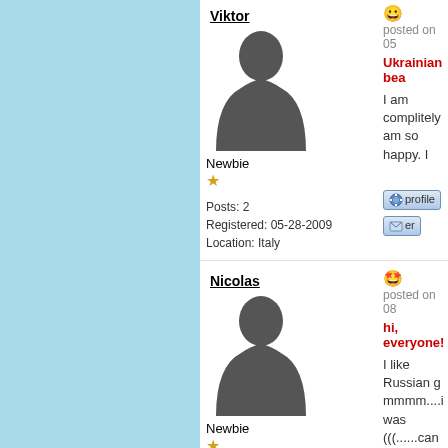Viktor
[Figure (illustration): Default user avatar silhouette (dark grey person shape) for Viktor]
Newbie
★

Posts: 2
Registered: 05-28-2009
Location: Italy
posted on 05
Ukrainian bea
I am complitely
am so happy. I
Nicolas
[Figure (illustration): Default user avatar silhouette (dark grey person shape) for Nicolas]
Newbie
★

Posts: 1
Registered: 08-01-2009
Location:
posted on 08
hi, everyone!
I like Russian g
mmmm....i was
(((......can you g